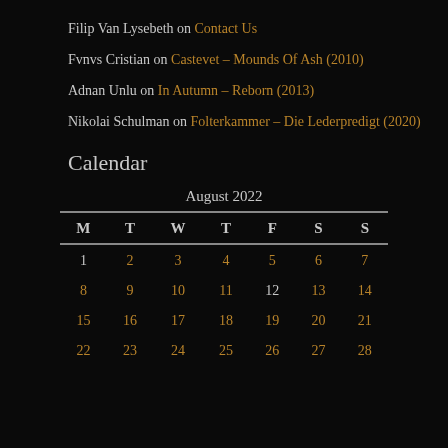Filip Van Lysebeth on Contact Us
Fvnvs Cristian on Castevet – Mounds Of Ash (2010)
Adnan Unlu on In Autumn – Reborn (2013)
Nikolai Schulman on Folterkammer – Die Lederpredigt (2020)
Calendar
| M | T | W | T | F | S | S |
| --- | --- | --- | --- | --- | --- | --- |
| 1 | 2 | 3 | 4 | 5 | 6 | 7 |
| 8 | 9 | 10 | 11 | 12 | 13 | 14 |
| 15 | 16 | 17 | 18 | 19 | 20 | 21 |
| 22 | 23 | 24 | 25 | 26 | 27 | 28 |